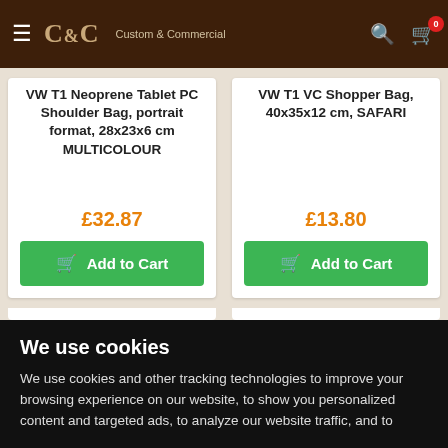C&C Custom & Commercial
VW T1 Neoprene Tablet PC Shoulder Bag, portrait format, 28x23x6 cm MULTICOLOUR
£32.87
VW T1 VC Shopper Bag, 40x35x12 cm, SAFARI
£13.80
We use cookies
We use cookies and other tracking technologies to improve your browsing experience on our website, to show you personalized content and targeted ads, to analyze our website traffic, and to